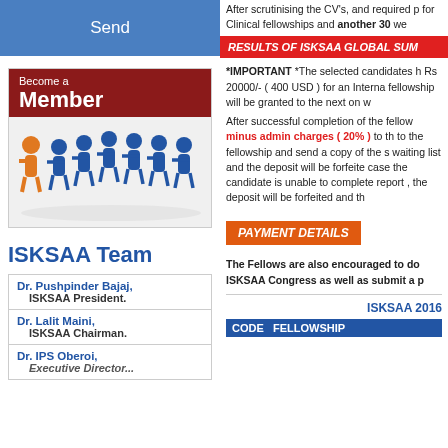Send
[Figure (illustration): Become a Member box with red header and paper people figures illustration]
ISKSAA Team
| Dr. Pushpinder Bajaj, | ISKSAA President. |
| Dr. Lalit Maini, | ISKSAA Chairman. |
| Dr. IPS Oberoi, | Executive Director... |
After scrutinising the CV's, and required for Clinical fellowships and another 30 we
RESULTS OF ISKSAA GLOBAL SUM
*IMPORTANT *The selected candidates Rs 20000/- ( 400 USD ) for an International fellowship will be granted to the next on w
After successful completion of the fellowship minus admin charges ( 20% ) to the fellowship and send a copy of the s waiting list and the deposit will be forfeited case the candidate is unable to complete report , the deposit will be forfeited and the
PAYMENT DETAILS
The Fellows are also encouraged to do ISKSAA Congress as well as submit a p
ISKSAA 2016
CODE FELLOWSHIP